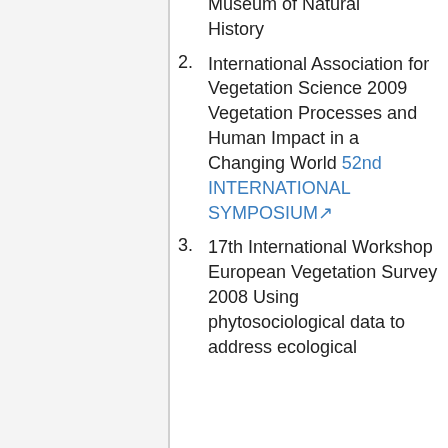Museum of Natural History
International Association for Vegetation Science 2009 Vegetation Processes and Human Impact in a Changing World 52nd INTERNATIONAL SYMPOSIUM
17th International Workshop European Vegetation Survey 2008 Using phytosociological data to address ecological